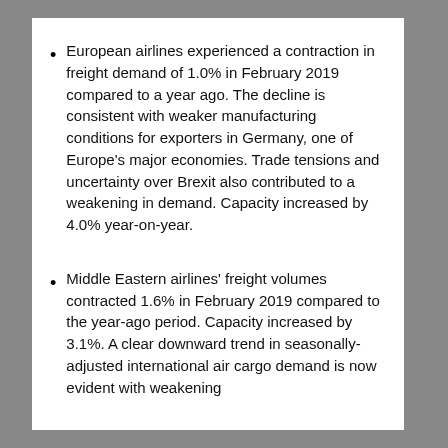European airlines experienced a contraction in freight demand of 1.0% in February 2019 compared to a year ago. The decline is consistent with weaker manufacturing conditions for exporters in Germany, one of Europe's major economies. Trade tensions and uncertainty over Brexit also contributed to a weakening in demand. Capacity increased by 4.0% year-on-year.
Middle Eastern airlines' freight volumes contracted 1.6% in February 2019 compared to the year-ago period. Capacity increased by 3.1%. A clear downward trend in seasonally-adjusted international air cargo demand is now evident with weakening trade tariffs. North American contributions to the...